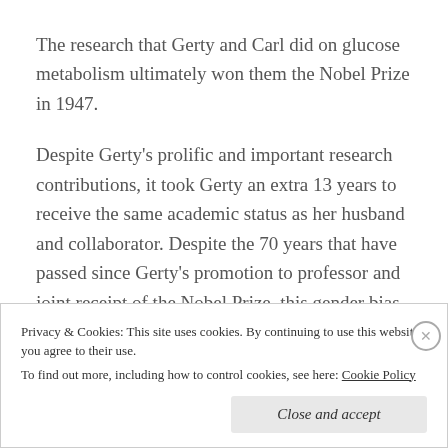The research that Gerty and Carl did on glucose metabolism ultimately won them the Nobel Prize in 1947.
Despite Gerty's prolific and important research contributions, it took Gerty an extra 13 years to receive the same academic status as her husband and collaborator. Despite the 70 years that have passed since Gerty's promotion to professor and joint receipt of the Nobel Prize, this gender bias
Privacy & Cookies: This site uses cookies. By continuing to use this website, you agree to their use.
To find out more, including how to control cookies, see here: Cookie Policy